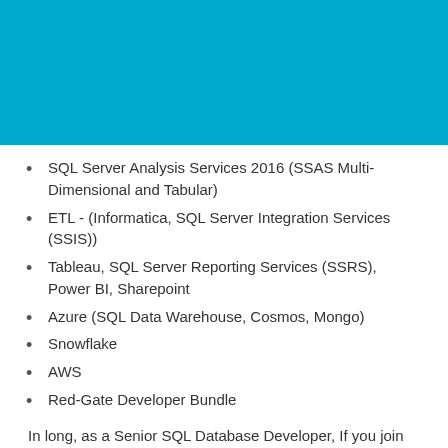[Figure (other): Cyan/light blue header bar background]
SQL Server Analysis Services 2016 (SSAS Multi-Dimensional and Tabular)
ETL - (Informatica, SQL Server Integration Services (SSIS))
Tableau, SQL Server Reporting Services (SSRS), Power BI, Sharepoint
Azure (SQL Data Warehouse, Cosmos, Mongo)
Snowflake
AWS
Red-Gate Developer Bundle
In long, as a Senior SQL Database Developer, If you join us your day will consist of:
Participate with the business to identify the most impactful opportunities